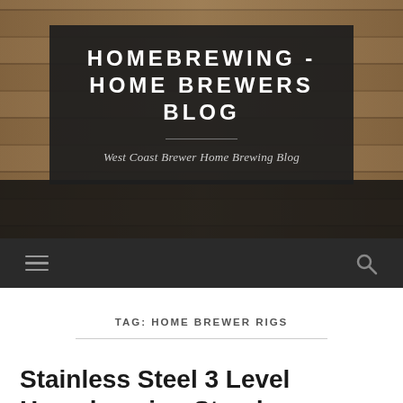[Figure (photo): Background photo of a homebrewing setup with wooden planks and brewing equipment visible]
HOMEBREWING - HOME BREWERS BLOG
West Coast Brewer Home Brewing Blog
TAG: HOME BREWER RIGS
Stainless Steel 3 Level Homebrewing Stand